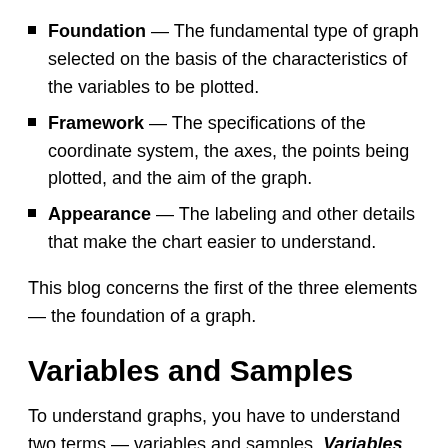Foundation — The fundamental type of graph selected on the basis of the characteristics of the variables to be plotted.
Framework — The specifications of the coordinate system, the axes, the points being plotted, and the aim of the graph.
Appearance — The labeling and other details that make the chart easier to understand.
This blog concerns the first of the three elements — the foundation of a graph.
Variables and Samples
To understand graphs, you have to understand two terms — variables and samples. Variables contain the pieces of